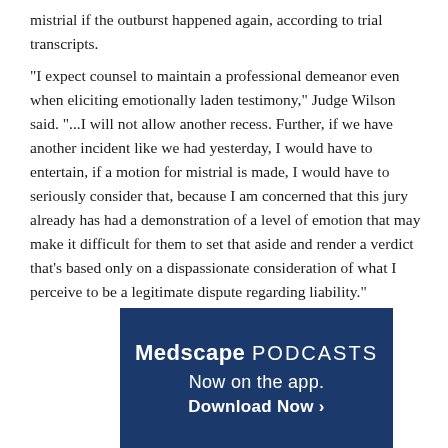mistrial if the outburst happened again, according to trial transcripts.
"I expect counsel to maintain a professional demeanor even when eliciting emotionally laden testimony," Judge Wilson said. "...I will not allow another recess. Further, if we have another incident like we had yesterday, I would have to entertain, if a motion for mistrial is made, I would have to seriously consider that, because I am concerned that this jury already has had a demonstration of a level of emotion that may make it difficult for them to set that aside and render a verdict that's based only on a dispassionate consideration of what I perceive to be a legitimate dispute regarding liability."
[Figure (other): Medscape PODCASTS advertisement banner with dark blue background. Text reads 'Medscape PODCASTS', 'Now on the app.', 'Download Now >']